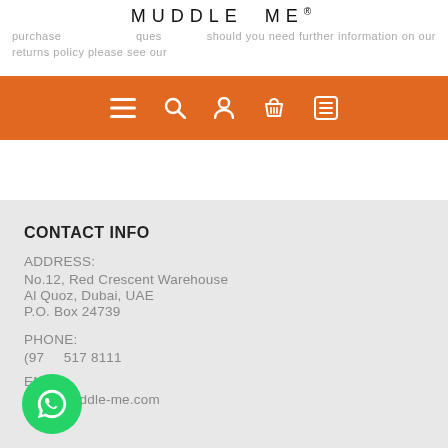MUDDLE ME®
purchase … questions … should you need further information on our returns policy please see our
[Figure (screenshot): Orange navigation bar with icons: hamburger menu, search, user, basket, list]
CONTACT INFO
ADDRESS:
No.12, Red Crescent Warehouse
Al Quoz, Dubai, UAE
P.O. Box 24739
PHONE:
(97__ _17 8111
EMAIL:
info@muddle-me.com